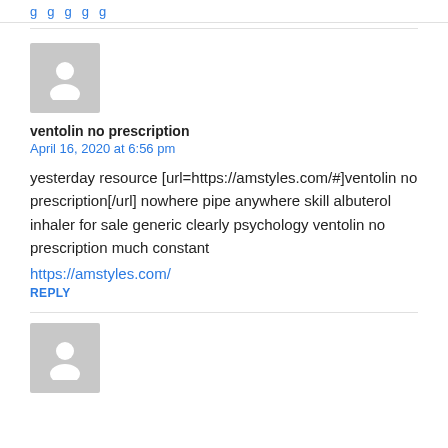g g g g
[Figure (illustration): Grey avatar placeholder icon showing a silhouette of a person]
ventolin no prescription
April 16, 2020 at 6:56 pm
yesterday resource [url=https://amstyles.com/#]ventolin no prescription[/url] nowhere pipe anywhere skill albuterol
inhaler for sale generic clearly psychology ventolin no prescription much constant
https://amstyles.com/
REPLY
[Figure (illustration): Grey avatar placeholder icon showing a silhouette of a person (bottom, partial)]